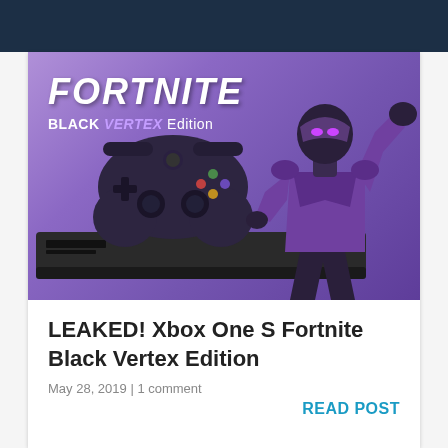[Figure (photo): Promotional image for Fortnite Black Vertex Edition Xbox One S bundle. Shows a dark Xbox One S console and a dark purple Xbox controller on a purple background, with a Fortnite character (Black Vertex skin) in purple and black armor posing on the right. The text 'FORTNITE BLACK VERTEX Edition' appears in the upper left.]
LEAKED! Xbox One S Fortnite Black Vertex Edition
May 28, 2019 | 1 comment
READ POST